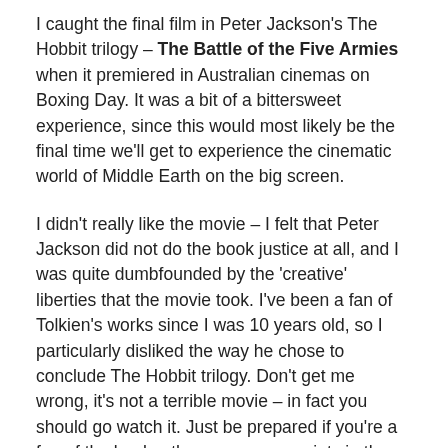I caught the final film in Peter Jackson's The Hobbit trilogy – The Battle of the Five Armies when it premiered in Australian cinemas on Boxing Day. It was a bit of a bittersweet experience, since this would most likely be the final time we'll get to experience the cinematic world of Middle Earth on the big screen.
I didn't really like the movie – I felt that Peter Jackson did not do the book justice at all, and I was quite dumbfounded by the 'creative' liberties that the movie took. I've been a fan of Tolkien's works since I was 10 years old, so I particularly disliked the way he chose to conclude The Hobbit trilogy. Don't get me wrong, it's not a terrible movie – in fact you should go watch it. Just be prepared if you're a fan of the book – there are some points in the movie that will make your blood boil.